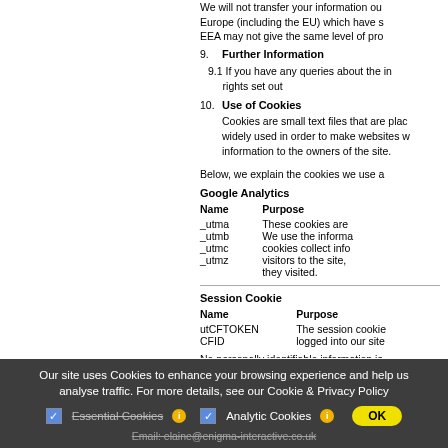We will not transfer your information outside Europe (including the EU) which have s... EEA may not give the same level of pro...
9. Further Information
9.1 If you have any queries about the information rights set out
10. Use of Cookies
Cookies are small text files that are placed on your computer by websites. They are widely used in order to make websites work, or work more efficiently, as well as to provide information to the owners of the site.
Below, we explain the cookies we use a...
Google Analytics
| Name | Purpose |
| --- | --- |
| _utma | These cookies are... |
| _utmb | We use the informa... |
| _utmc | cookies collect info... |
| _utmz | visitors to the site, ... they visited. |
Session Cookie
| Name | Purpose |
| --- | --- |
| utCFTOKEN | The session cookie... |
| CFID | logged into our site... |
No personally identifiable information is...
Our site uses Cookies to enhance your browsing experience and help us analyse traffic. For more details, see our Cookie & Privacy Policy
Essential Cookies  Analytic Cookies
Email: elaine@enigma-interactive.co.uk